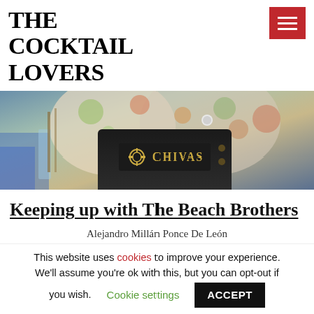THE COCKTAIL LOVERS
[Figure (photo): A bartender wearing a floral shirt and a black Chivas-branded apron, pouring a drink at a bar.]
Keeping up with The Beach Brothers
Alejandro Millán Ponce De León
This website uses cookies to improve your experience. We'll assume you're ok with this, but you can opt-out if you wish.   Cookie settings   ACCEPT